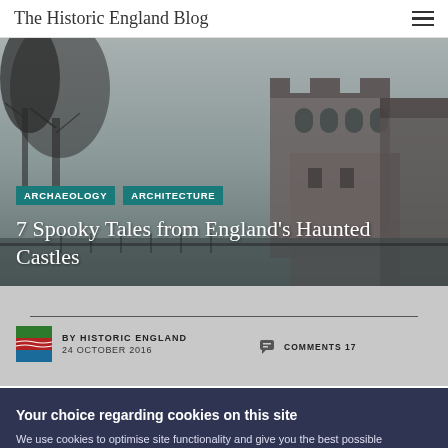The Historic England Blog
[Figure (photo): Black and white photo of a historic English castle tower with bare trees in background]
ARCHAEOLOGY
ARCHITECTURE
7 Spooky Tales from England's Haunted Castles
BY HISTORIC ENGLAND
24 OCTOBER 2016
COMMENTS 17
Your choice regarding cookies on this site
We use cookies to optimise site functionality and give you the best possible experience.
Accept | I do not accept | Cookie Preferences